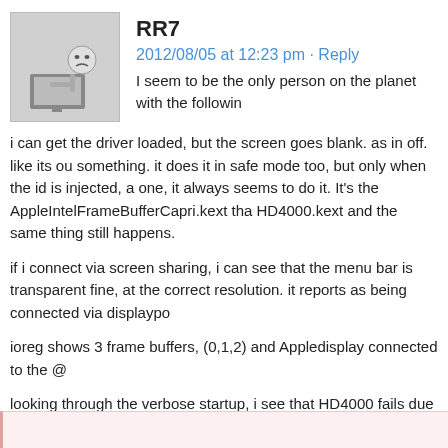RR7
2012/08/05 at 12:23 pm · Reply
I seem to be the only person on the planet with the following problem...
i can get the driver loaded, but the screen goes blank. as in off. like its outputting to something. it does it in safe mode too, but only when the id is injected, and not the screen one, it always seems to do it. It's the AppleIntelFrameBufferCapri.kext that seems to be it, HD4000.kext and the same thing still happens.
if i connect via screen sharing, i can see that the menu bar is transparent and everything is fine, at the correct resolution. it reports as being connected via displayport.
ioreg shows 3 frame buffers, (0,1,2) and Appledisplay connected to the @0
looking through the verbose startup, i see that HD4000 fails due to dependency on IOGraphicsFamily, and that it couldn't alloc class Gen7Accellerator. i don't know what to sai, if i remove the kext, the same thing happens. how does one diagnose this?
i've tried switchrex and tried dropped the resolution, which doesnt fix it, either. i'm pretty stumped as to whats going on and why, and it seems that no-one around here knows either, i dont blame them i guess.
but i could really do with some sample DSDT and IOREG files to try and match my system to.
any help really appreciated!